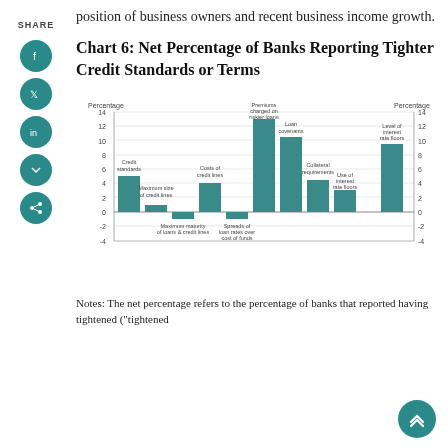position of business owners and recent business income growth.
Chart 6: Net Percentage of Banks Reporting Tighter Credit Standards or Terms
[Figure (bar-chart): Net Percentage of Banks Reporting Tighter Credit Standards or Terms]
Notes: The net percentage refers to the percentage of banks that reported having tightened ("tightened